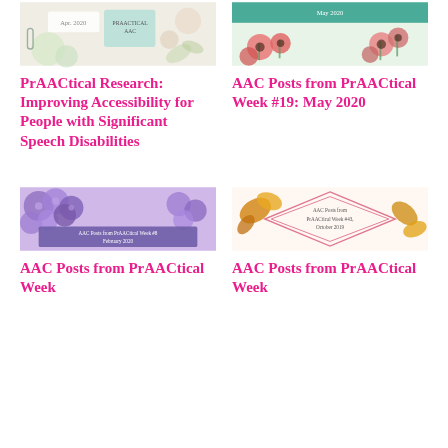[Figure (illustration): Thumbnail image for PrAACtical Research article - decorative stationery/planner style with Apr 2020 date visible]
PrAACtical Research: Improving Accessibility for People with Significant Speech Disabilities
[Figure (illustration): Thumbnail image for AAC Posts from PrAACtical Week #19: May 2020 - floral/poppy design with teal header]
AAC Posts from PrAACtical Week #19: May 2020
[Figure (illustration): Thumbnail for AAC Posts from PrAACtical Week #8 February 2020 - purple hydrangea flowers with purple banner text]
AAC Posts from PrAACtical Week
[Figure (illustration): Thumbnail for AAC Posts from PrAACtical Week #43 October 2019 - autumn leaves with geometric diamond frame]
AAC Posts from PrAACtical Week